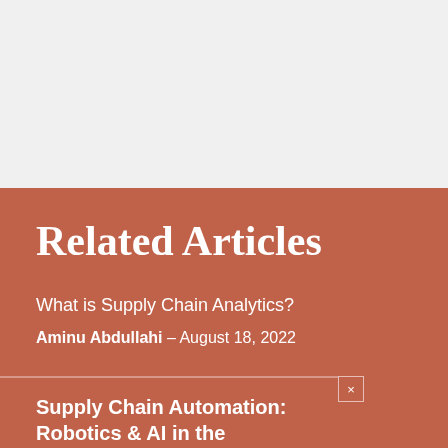[Figure (other): Gray background top section, empty space]
Related Articles
What is Supply Chain Analytics?
Aminu Abdullahi – August 18, 2022
Supply Chain Automation: Robotics & AI in the